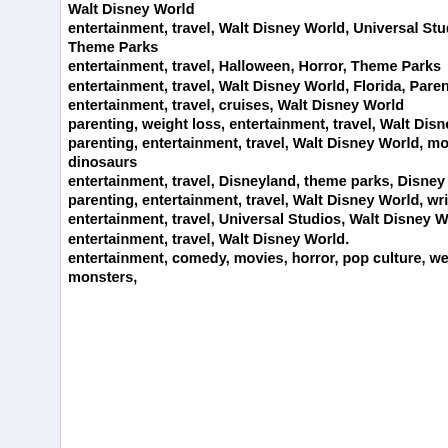Walt Disney World
entertainment, travel, Walt Disney World, Universal Studios, Theme Parks
entertainment, travel, Halloween, Horror, Theme Parks
entertainment, travel, Walt Disney World, Florida, Parenting
entertainment, travel, cruises, Walt Disney World
parenting, weight loss, entertainment, travel, Walt Disney World
parenting, entertainment, travel, Walt Disney World, movies, dinosaurs
entertainment, travel, Disneyland, theme parks, Disney
parenting, entertainment, travel, Walt Disney World, writing, music
entertainment, travel, Universal Studios, Walt Disney World
entertainment, travel, Walt Disney World.
entertainment, comedy, movies, horror, pop culture, weird stories, monsters,